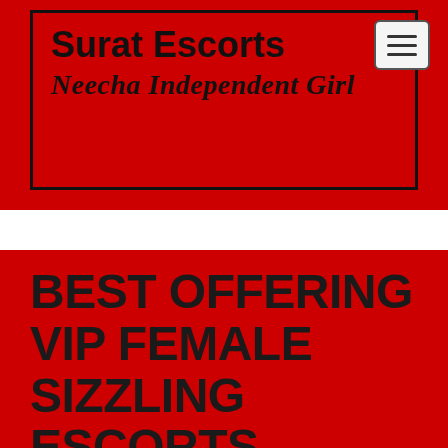Surat Escorts
Neecha Independent Girl
BEST OFFERING VIP FEMALE SIZZLING ESCORTS SERVICE IN DHEBAR ROAD